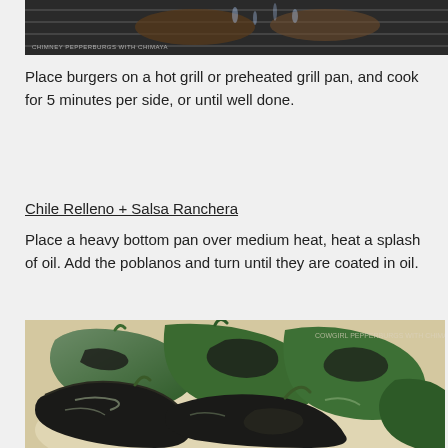[Figure (photo): Partial view of burgers on a grill pan, dark background with grill marks visible. Watermark text 'CHIMNEY PEPPERBURGS WITH CHIMAYA' in bottom left.]
Place burgers on a hot grill or preheated grill pan, and cook for 5 minutes per side, or until well done.
Chile Relleno + Salsa Ranchera
Place a heavy bottom pan over medium heat, heat a splash of oil. Add the poblanos and turn until they are coated in oil.
[Figure (photo): Roasted/charred poblano peppers glistening with oil on a white plate. Several whole poblanos with blackened skin. Watermark text visible in top right corner.]